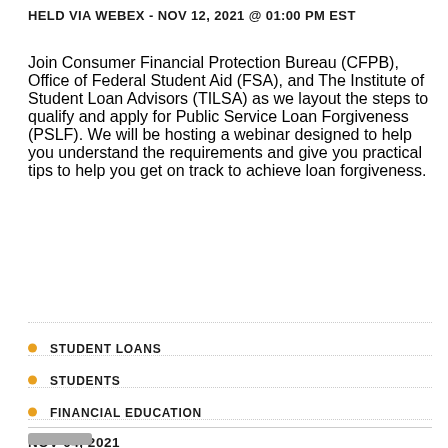HELD VIA WEBEX - NOV 12, 2021 @ 01:00 PM EST
Join Consumer Financial Protection Bureau (CFPB), Office of Federal Student Aid (FSA), and The Institute of Student Loan Advisors (TILSA) as we layout the steps to qualify and apply for Public Service Loan Forgiveness (PSLF). We will be hosting a webinar designed to help you understand the requirements and give you practical tips to help you get on track to achieve loan forgiveness.
STUDENT LOANS
STUDENTS
FINANCIAL EDUCATION
NOV 04, 2021